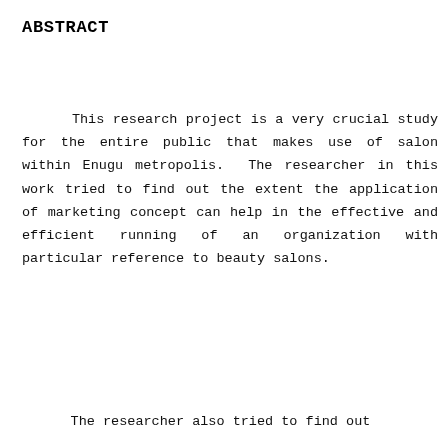ABSTRACT
This research project is a very crucial study for the entire public that makes use of salon within Enugu metropolis. The researcher in this work tried to find out the extent the application of marketing concept can help in the effective and efficient running of an organization with particular reference to beauty salons.
The researcher also tried to find out